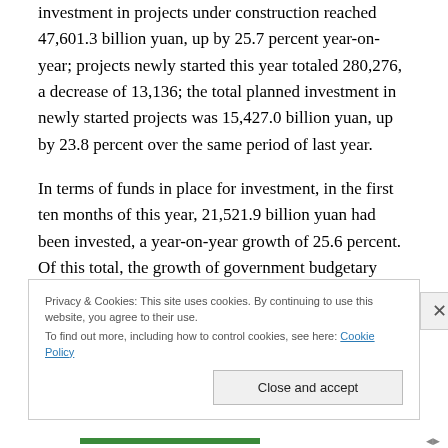investment in projects under construction reached 47,601.3 billion yuan, up by 25.7 percent year-on-year; projects newly started this year totaled 280,276, a decrease of 13,136; the total planned investment in newly started projects was 15,427.0 billion yuan, up by 23.8 percent over the same period of last year.
In terms of funds in place for investment, in the first ten months of this year, 21,521.9 billion yuan had been invested, a year-on-year growth of 25.6 percent. Of this total, the growth of government budgetary funds went up
Privacy & Cookies: This site uses cookies. By continuing to use this website, you agree to their use.
To find out more, including how to control cookies, see here: Cookie Policy